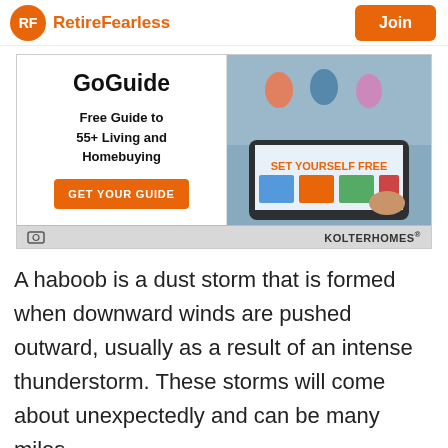RetireFearless | Join
[Figure (infographic): GoGuide advertisement banner: 'Free Guide to 55+ Living and Homebuying' with a GET YOUR GUIDE orange button on the left, and a photo of a tablet showing 'SET YOURSELF FREE' on the right. KOLTER HOMES branding at bottom.]
A haboob is a dust storm that is formed when downward winds are pushed outward, usually as a result of an intense thunderstorm. These storms will come about unexpectedly and can be many miles